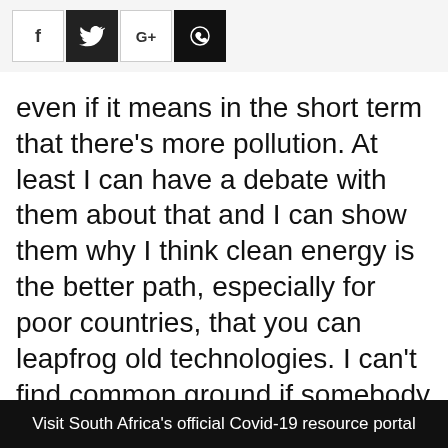[Figure (other): Social media share buttons row: Facebook (f), Twitter (bird icon), Google+ (G+), WhatsApp (phone icon)]
even if it means in the short term that there’s more pollution. At least I can have a debate with them about that and I can show them why I think clean energy is the better path, especially for poor countries, that you can leapfrog old technologies. I can’t find common ground if somebody says climate change is just not happening, when almost all of the world’s scientists tell us it is. I don’t know where to start talking to you
Visit South Africa's official Covid-19 resource portal